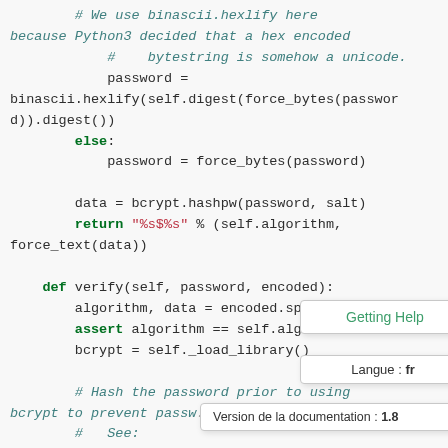# We use binascii.hexlify here because Python3 decided that a hex encoded
#    bytestring is somehow a unicode.
            password =
binascii.hexlify(self.digest(force_bytes(password)).digest())
        else:
            password = force_bytes(password)

        data = bcrypt.hashpw(password, salt)
        return "%s$%s" % (self.algorithm, force_text(data))

    def verify(self, password, encoded):
        algorithm, data = encoded.split(...)
        assert algorithm == self.algor...
        bcrypt = self._load_library()

        # Hash the password prior to using
bcrypt to prevent passw...
        #   See:
https://code.djangoproject.com/ticket/20138
[Figure (screenshot): Tooltip popup showing 'Getting Help' link in green]
[Figure (screenshot): Tooltip showing 'Langue : fr']
[Figure (screenshot): Tooltip showing 'Version de la documentation : 1.8']